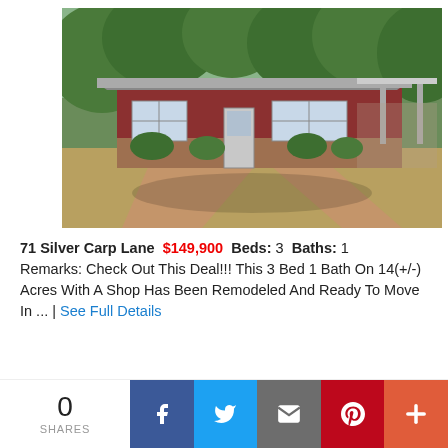[Figure (photo): Exterior photo of a single-story brick ranch house with red siding, carport on right, surrounded by trees, with a dirt/grass yard in summer daylight.]
71 Silver Carp Lane  $149,900  Beds: 3  Baths: 1
Remarks: Check Out This Deal!!! This 3 Bed 1 Bath On 14(+/-) Acres With A Shop Has Been Remodeled And Ready To Move In ... | See Full Details
0 SHARES